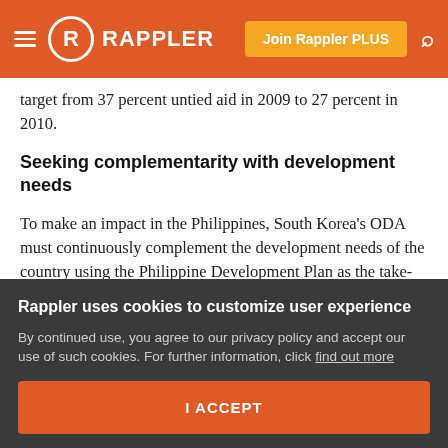Rappler — Join Rappler PLUS
target from 37 percent untied aid in 2009 to 27 percent in 2010.
Seeking complementarity with development needs
To make an impact in the Philippines, South Korea's ODA must continuously complement the development needs of the country using the Philippine Development Plan as the take-off point of projects. Thus far, the Korean government is on the right track as its overseas development strategy focuses on its comparative advantage based on KOICA
Rappler uses cookies to customize user experience
By continued use, you agree to our privacy policy and accept our use of such cookies. For further information, click find out more
I ACCEPT